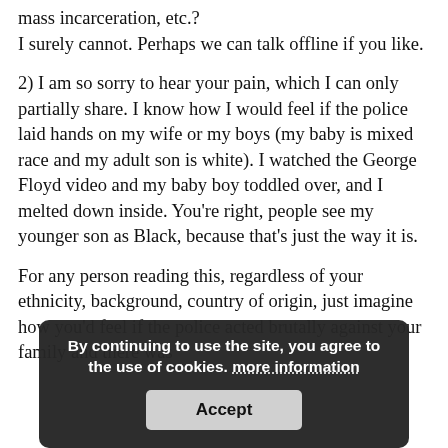mass incarceration, etc.? I surely cannot. Perhaps we can talk offline if you like.
2) I am so sorry to hear your pain, which I can only partially share. I know how I would feel if the police laid hands on my wife or my boys (my baby is mixed race and my adult son is white). I watched the George Floyd video and my baby boy toddled over, and I melted down inside. You're right, people see my younger son as Black, because that's just the way it is.
For any person reading this, regardless of your ethnicity, background, country of origin, just imagine how you'd feel if the police acted brutally against your family and there was
By continuing to use the site, you agree to the use of cookies. more information
Accept